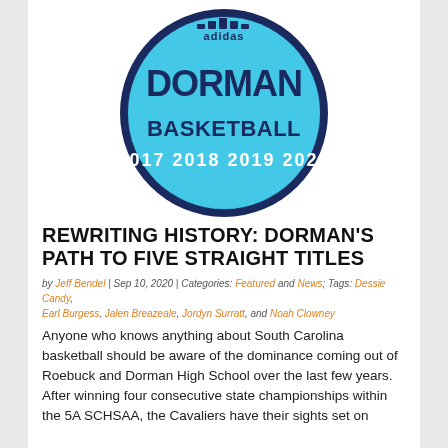[Figure (logo): Adidas Dorman Basketball circular logo in blue and navy, showing years 2017 2018 2019 2020]
REWRITING HISTORY: DORMAN'S PATH TO FIVE STRAIGHT TITLES
by Jeff Bendel | Sep 10, 2020 | Categories: Featured and News; Tags: Dessie Candy, Earl Burgess, Jalen Breazeale, Jordyn Surratt, and Noah Clowney
Anyone who knows anything about South Carolina basketball should be aware of the dominance coming out of Roebuck and Dorman High School over the last few years. After winning four consecutive state championships within the 5A SCHSAA, the Cavaliers have their sights set on